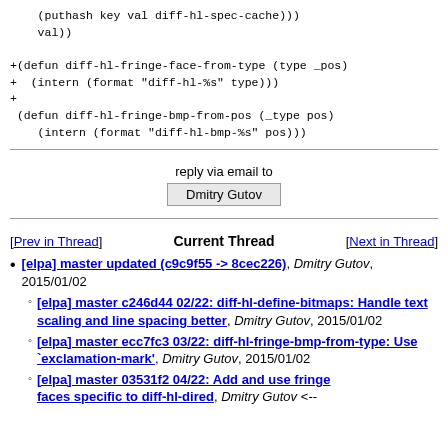(puthash key val diff-hl-spec-cache)))
    val))

+(defun diff-hl-fringe-face-from-type (type _pos)
+  (intern (format "diff-hl-%s" type)))
+
 (defun diff-hl-fringe-bmp-from-pos (_type pos)
    (intern (format "diff-hl-bmp-%s" pos)))
reply via email to
Dmitry Gutov
[Prev in Thread]   Current Thread   [Next in Thread]
[elpa] master updated (c9c9f55 -> 8cec226), Dmitry Gutov, 2015/01/02
[elpa] master c246d44 02/22: diff-hl-define-bitmaps: Handle text scaling and line spacing better, Dmitry Gutov, 2015/01/02
[elpa] master ecc7fc3 03/22: diff-hl-fringe-bmp-from-type: Use `exclamation-mark', Dmitry Gutov, 2015/01/02
[elpa] master 03531f2 04/22: Add and use fringe faces specific to diff-hl-dired, Dmitry Gutov, ...